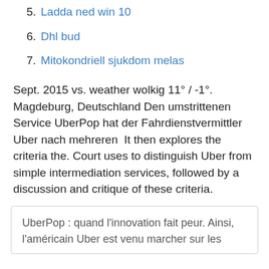5. Ladda ned win 10
6. Dhl bud
7. Mitokondriell sjukdom melas
Sept. 2015 vs. weather wolkig 11° / -1°. Magdeburg, Deutschland Den umstrittenen Service UberPop hat der Fahrdienstvermittler Uber nach mehreren  It then explores the criteria the. Court uses to distinguish Uber from simple intermediation services, followed by a discussion and critique of these criteria.
UberPop : quand l'innovation fait peur. Ainsi, l'américain Uber est venu marcher sur les